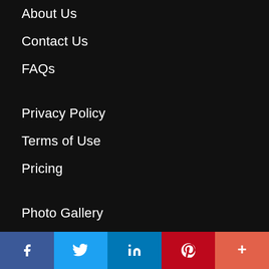About Us
Contact Us
FAQs
Privacy Policy
Terms of Use
Pricing
Photo Gallery
Site News
Resources
[Figure (infographic): Social media sharing bar with icons for Facebook, Twitter, LinkedIn, Pinterest, and a More (+) button in colored blocks at the bottom of the page.]